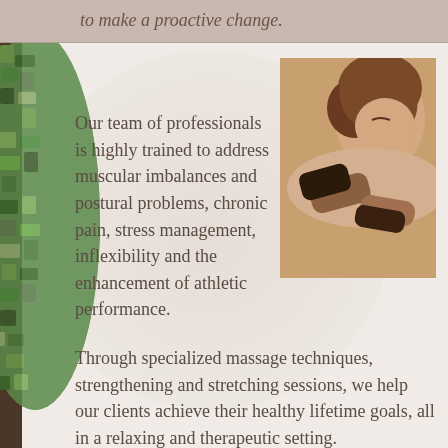to make a proactive change.
[Figure (photo): A massage therapist applying massage to a person's back/shoulder area, close-up shot]
Our team of professionals is highly trained to address muscular imbalances and postural problems, chronic pain, stress management, inflexibility and the enhancement of athletic performance.
Through specialized massage techniques, strengthening and stretching sessions, we help our clients achieve their healthy lifetime goals, all in a relaxing and therapeutic setting.
Centre Ave Massage & Spa is located in the